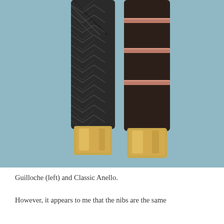[Figure (photo): Two fountain pen barrels side by side against a light blue background. Left pen has a dark charcoal/black herringbone guilloche pattern body with a polished gold/brass nib section at the bottom. Right pen has a dark brown/espresso smooth body with three rose gold rings near the top and a polished gold nib section at the bottom.]
Guilloche (left) and Classic Anello.
However, it appears to me that the nibs are the same